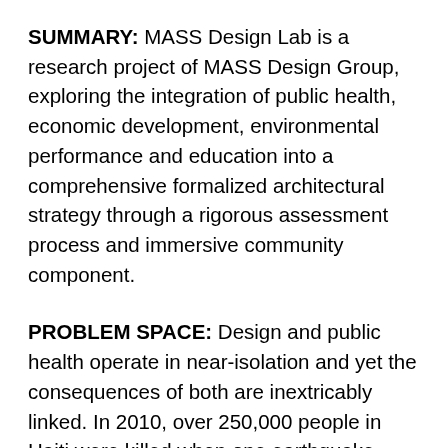SUMMARY: MASS Design Lab is a research project of MASS Design Group, exploring the integration of public health, economic development, environmental performance and education into a comprehensive formalized architectural strategy through a rigorous assessment process and immersive community component.
PROBLEM SPACE: Design and public health operate in near-isolation and yet the consequences of both are inextricably linked. In 2010, over 250,000 people in Haiti were killed when one earthquake leveled buildings and devastated infrastructure. Three years later, Port-au-Prince remains vulnerable to disease as a